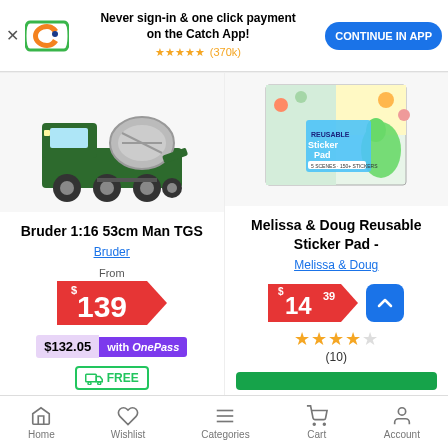[Figure (screenshot): App banner with Catch.com.au logo, text 'Never sign-in & one click payment on the Catch App!', 5 stars rating (370k), and 'CONTINUE IN APP' button]
[Figure (photo): Bruder 1:16 53cm Man TGS cement mixer truck toy, green, on white background]
Bruder 1:16 53cm Man TGS
Bruder
From $139 $132.05 with OnePass FREE delivery
[Figure (photo): Melissa & Doug Reusable Sticker Pad showing colourful animal stickers on cover, 5 scenes and over 150 stickers]
Melissa & Doug Reusable Sticker Pad -
Melissa & Doug
$14.39 rating 4 stars (10)